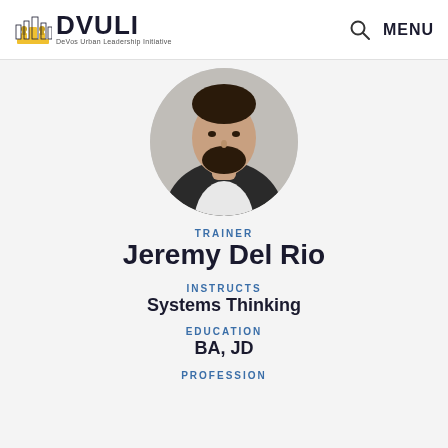DVULI DeVos Urban Leadership Initiative — MENU
[Figure (photo): Circular profile photo of Jeremy Del Rio, a man with dark hair and beard wearing a black jacket and white shirt]
TRAINER
Jeremy Del Rio
INSTRUCTS
Systems Thinking
EDUCATION
BA, JD
PROFESSION